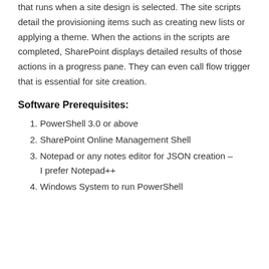that runs when a site design is selected. The site scripts detail the provisioning items such as creating new lists or applying a theme. When the actions in the scripts are completed, SharePoint displays detailed results of those actions in a progress pane. They can even call flow trigger that is essential for site creation.
Software Prerequisites:
PowerShell 3.0 or above
SharePoint Online Management Shell
Notepad or any notes editor for JSON creation – I prefer Notepad++
Windows System to run PowerShell